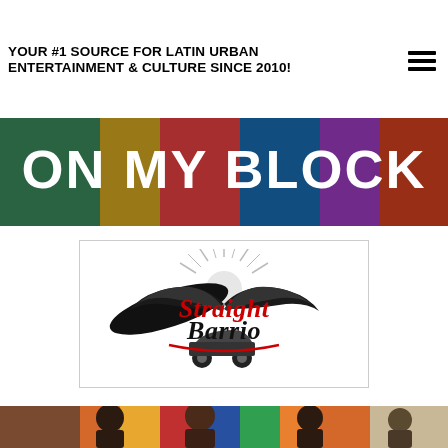YOUR #1 SOURCE FOR LATIN URBAN ENTERTAINMENT & CULTURE SINCE 2010!
[Figure (photo): Banner image showing 'ON MY BLOCK' text with colorful background and people]
[Figure (logo): Straight Barrio logo with winged old-school car and gothic lettering on white background]
[Figure (photo): Cast photo of On My Block TV show with group of young actors in front of a colorful mural]